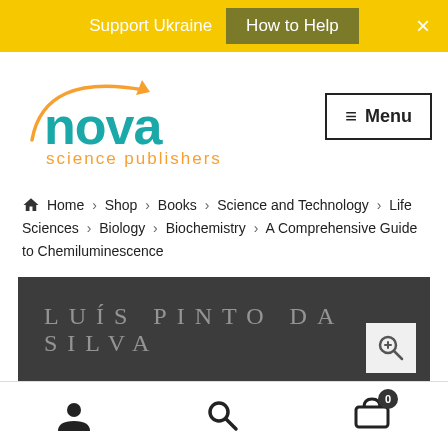Support Ukraine  How to Help  ×
[Figure (logo): Nova Science Publishers logo with orange arrow arc and teal 'nova' wordmark and orange 'science publishers' text]
≡ Menu
🏠 Home > Shop > Books > Science and Technology > Life Sciences > Biology > Biochemistry > A Comprehensive Guide to Chemiluminescence
[Figure (photo): Dark gray book cover showing author name 'LUÍS PINTO DA SILVA' in light spaced uppercase letters, with a zoom/magnify button in the bottom right corner]
User account icon | Search icon | Shopping cart icon with badge 0